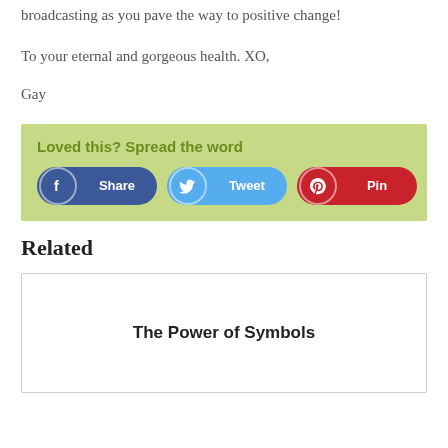broadcasting as you pave the way to positive change!
To your eternal and gorgeous health. XO,
Gay
[Figure (infographic): Green background box with bold heading 'Loved this? Spread the word' and three social share buttons: Facebook Share (dark blue), Tweet (light blue), Pin (red).]
Related
[Figure (other): Related article card with title 'The Power of Symbols']